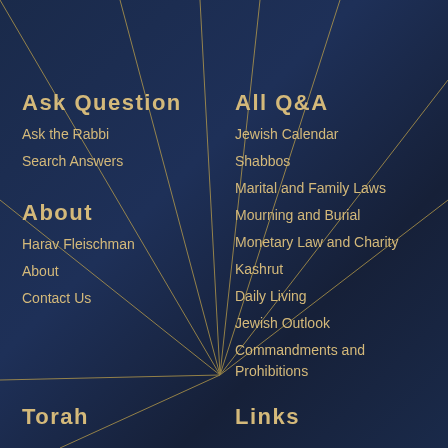Ask Question
Ask the Rabbi
Search Answers
About
Harav Fleischman
About
Contact Us
All Q&A
Jewish Calendar
Shabbos
Marital and Family Laws
Mourning and Burial
Monetary Law and Charity
Kashrut
Daily Living
Jewish Outlook
Commandments and Prohibitions
Torah
Links